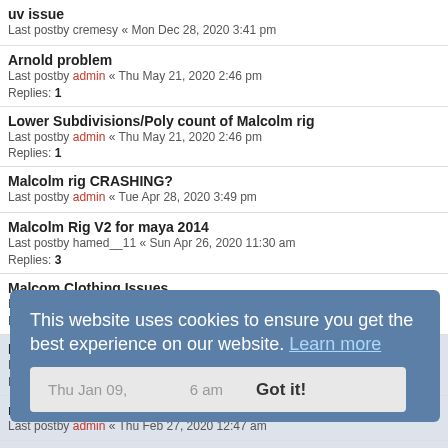uv issue
Last postby cremesy « Mon Dec 28, 2020 3:41 pm
Arnold problem
Last postby admin « Thu May 21, 2020 2:46 pm
Replies: 1
Lower Subdivisions/Poly count of Malcolm rig
Last postby admin « Thu May 21, 2020 2:46 pm
Replies: 1
Malcolm rig CRASHING?
Last postby admin « Tue Apr 28, 2020 3:49 pm
Malcolm Rig V2 for maya 2014
Last postby hamed__11 « Sun Apr 26, 2020 11:30 am
Replies: 3
Malcom Clothing Issues
Last postby LightsCameronAction « Thu Mar 05, 2020 7:12 pm
Replies: 3
IK2FK Offset
Last postby winteesete « Fri Feb 28, 2020 3:51 pm
Replies: 1
n...
Last postby admin « Thu Feb 27, 2020 12:47 am
Malcolm rig 2.0 crashing Maya 2018
Last postby admin « Thu Jan 09, 2020 6:46 am
Replies: 1
Malcolm Picker Problem
Last postby admin « Wed Dec 04, 2019 4:04 pm
This website uses cookies to ensure you get the best experience on our website. Learn more
Got it!